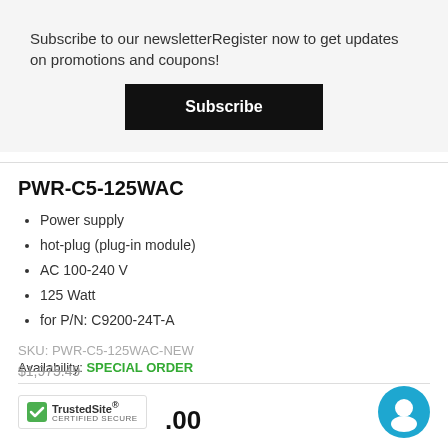Subscribe to our newsletterRegister now to get updates on promotions and coupons!
Subscribe
PWR-C5-125WAC
Power supply
hot-plug (plug-in module)
AC 100-240 V
125 Watt
for P/N: C9200-24T-A
SKU: PWR-C5-125WAC-NEW
Availability: SPECIAL ORDER
$1,975.49
.00